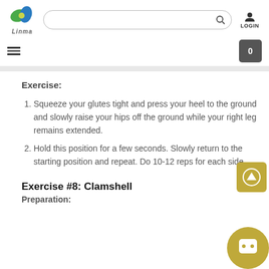Linma — LOGIN
Exercise:
Squeeze your glutes tight and press your heel to the ground and slowly raise your hips off the ground while your right leg remains extended.
Hold this position for a few seconds. Slowly return to the starting position and repeat. Do 10-12 reps for each side.
Exercise #8: Clamshell
Preparation: